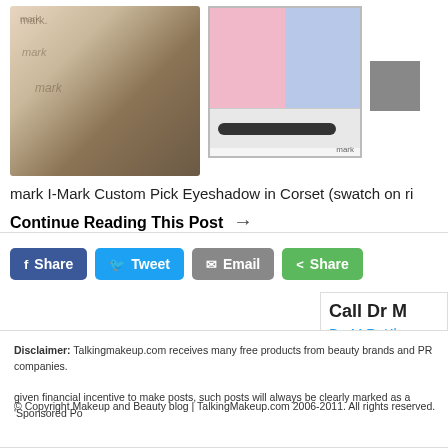[Figure (photo): Product photos: mark compact palettes in tan/olive/khaki colors on left, mark I-Mark Custom Pick Eyeshadow palette with pink and blue eyeshadow and brush in center, gray swatch box on right]
mark I-Mark Custom Pick Eyeshadow in Corset (swatch on ri
Continue Reading This Post →
[Figure (other): Social share buttons: Facebook Share, Twitter Tweet, Email, Share (green)]
[Figure (other): Advertisement: Call Dr M... Dr. M.R. Kh... with play and close controls]
Disclaimer: Talkingmakeup.com receives many free products from beauty brands and PR companies. given financial incentive to make posts, such posts will always be clearly marked as a 'Sponsored Po...
© Copyright Makeup and Beauty blog | TalkingMakeup.com 2006-2011. All rights reserved.